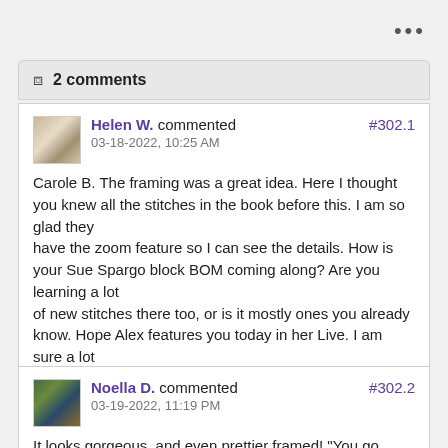2 comments
Helen W. commented #302.1
03-18-2022, 10:25 AM

Carole B. The framing was a great idea. Here I thought you knew all the stitches in the book before this. I am so glad they have the zoom feature so I can see the details. How is your Sue Spargo block BOM coming along? Are you learning a lot of new stitches there too, or is it mostly ones you already know. Hope Alex features you today in her Live. I am sure a lot of people would love to check it out for inspiration. You do amazing stitching. HelenW
Noella D. commented #302.2
03-19-2022, 11:19 PM

It looks gorgeous, and even prettier framed! "You go